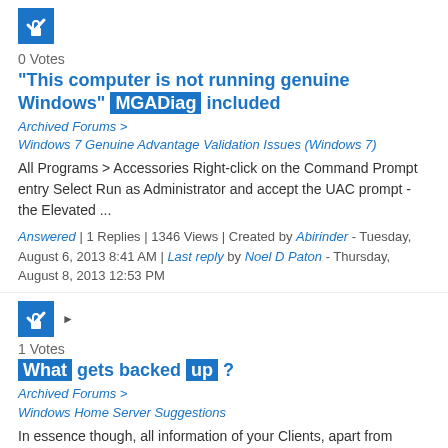[Figure (illustration): Blue square icon with white checkmark and lock symbol]
0 Votes
"This computer is not running genuine Windows" MGADiag included
Archived Forums > Windows 7 Genuine Advantage Validation Issues (Windows 7)
All Programs > Accessories Right-click on the Command Prompt entry Select Run as Administrator and accept the UAC prompt - the Elevated ...
Answered | 1 Replies | 1346 Views | Created by Abirinder - Tuesday, August 6, 2013 8:41 AM | Last reply by Noel D Paton - Thursday, August 8, 2013 12:53 PM
[Figure (illustration): Blue square icon with white checkmark and lock symbol, with right arrow]
1 Votes
What gets backed up ?
Archived Forums > Windows Home Server Suggestions
In essence though, all information of your Clients, apart from things like temp files etc are backed up, (unless you manually change the selection).
Answered | 4 Replies | 8155 Views | Created by RichieP49 - Monday, July 7, 2008 9:04 PM | Last ...